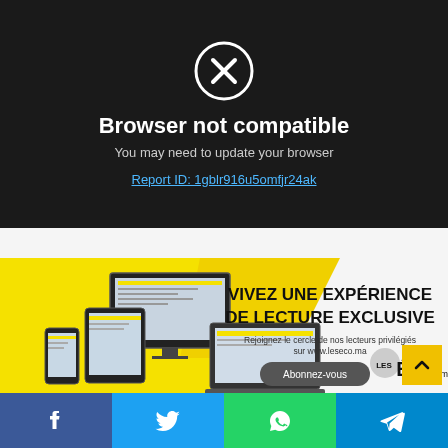[Figure (screenshot): Dark browser error screen with X icon in a circle, showing 'Browser not compatible' message, subtitle, and a report ID link]
Browser not compatible
You may need to update your browser
Report ID: 1gblr916u5omfjr24ak
[Figure (advertisement): Les Eco.ma advertisement banner showing devices with text 'VIVEZ UNE EXPÉRIENCE DE LECTURE EXCLUSIVE' and 'Rejoignez le cercle de nos lecteurs privilégiés sur www.leseco.ma' with Abonnez-vous button]
[Figure (infographic): Social share bar with Facebook, Twitter, WhatsApp, and Telegram icons]